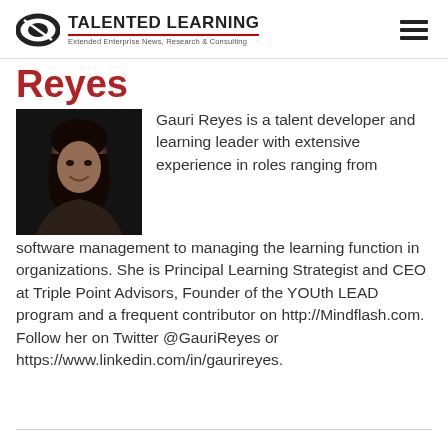TALENTED LEARNING — Extended Enterprise News, Research & Consulting
Reyes
[Figure (photo): Headshot photo of Gauri Reyes, a woman with dark hair, smiling, against a dark background.]
Gauri Reyes is a talent developer and learning leader with extensive experience in roles ranging from software management to managing the learning function in organizations. She is Principal Learning Strategist and CEO at Triple Point Advisors, Founder of the YOUth LEAD program and a frequent contributor on http://Mindflash.com. Follow her on Twitter @GauriReyes or https://www.linkedin.com/in/gaurireyes.